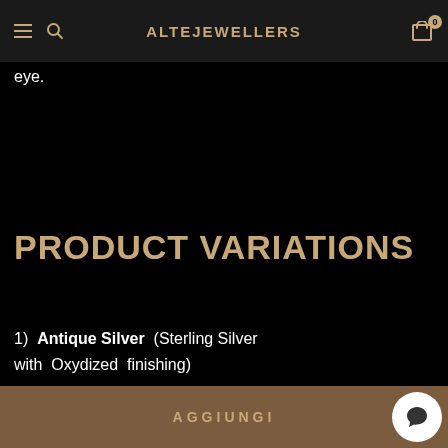ALTEJEWELLERS
eye.
PRODUCT VARIATIONS
1)  Antique Silver  (Sterling Silver with  Oxydized  finishing)
AGGIUNGI